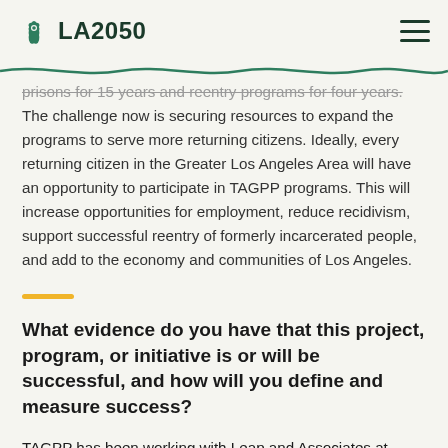LA2050
prisons for 15 years and reentry programs for four years. The challenge now is securing resources to expand the programs to serve more returning citizens. Ideally, every returning citizen in the Greater Los Angeles Area will have an opportunity to participate in TAGPP programs. This will increase opportunities for employment, reduce recidivism, support successful reentry of formerly incarcerated people, and add to the economy and communities of Los Angeles.
What evidence do you have that this project, program, or initiative is or will be successful, and how will you define and measure success?
TAGPP has been working with Leap and Associates at UCLA for three years developing a longitudinal study. The